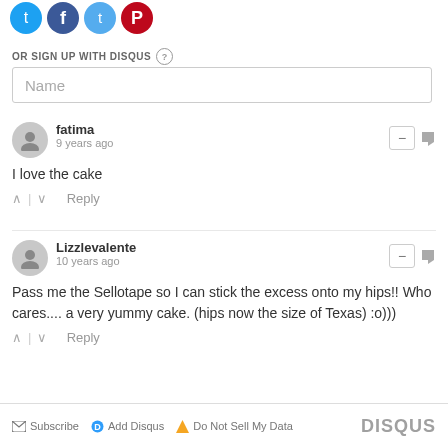[Figure (illustration): Social media icon buttons: Twitter (blue bird), Facebook (blue f), Twitter (light blue), Pinterest (red P)]
OR SIGN UP WITH DISQUS ?
Name
fatima
9 years ago
I love the cake
Lizzlevalente
10 years ago
Pass me the Sellotape so I can stick the excess onto my hips!! Who cares.... a very yummy cake. (hips now the size of Texas) :o)))
Subscribe  Add Disqus  Do Not Sell My Data  DISQUS